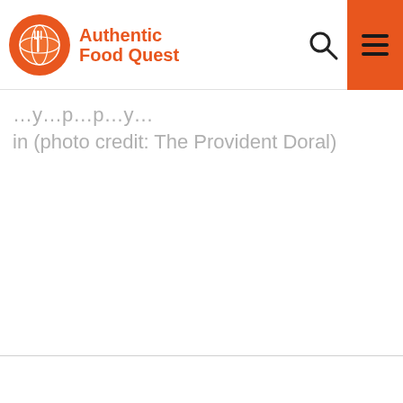Authentic Food Quest
in (photo credit: The Provident Doral)